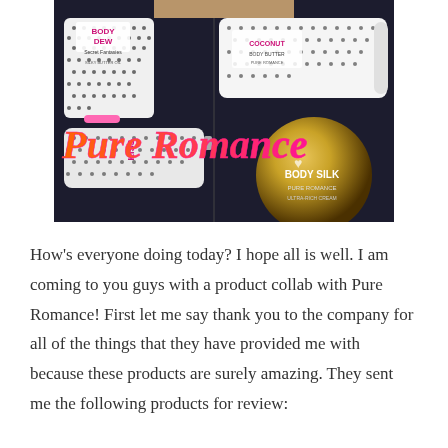[Figure (photo): Photo collage of Pure Romance beauty products (Body Dew, body butter, Kiss spray, Body Silk) laid on dark fabric background with 'Pure Romance' written in stylized orange-to-pink gradient script overlay]
How's everyone doing today? I hope all is well. I am coming to you guys with a product collab with Pure Romance! First let me say thank you to the company for all of the things that they have provided me with because these products are surely amazing. They sent me the following products for review: